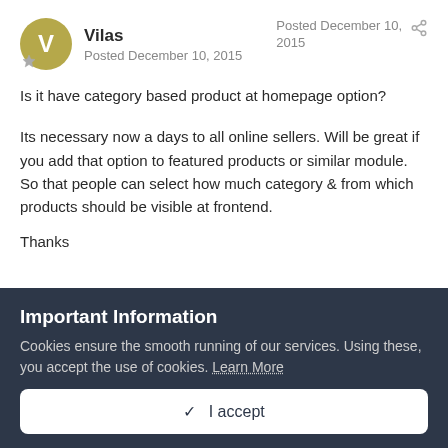Vilas
Posted December 10, 2015
Posted December 10, 2015
Is it have category based product at homepage option?
Its necessary now a days to all online sellers. Will be great if you add that option to featured products or similar module. So that people can select how much category & from which products should be visible at frontend.
Thanks
Important Information
Cookies ensure the smooth running of our services. Using these, you accept the use of cookies. Learn More
✓ I accept